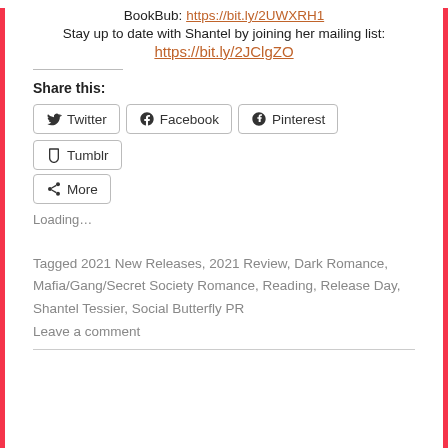BookBub: https://bit.ly/2UWXRH1
Stay up to date with Shantel by joining her mailing list:
https://bit.ly/2JClgZO
Share this:
Twitter  Facebook  Pinterest  Tumblr  More
Loading...
Tagged 2021 New Releases, 2021 Review, Dark Romance, Mafia/Gang/Secret Society Romance, Reading, Release Day, Shantel Tessier, Social Butterfly PR
Leave a comment